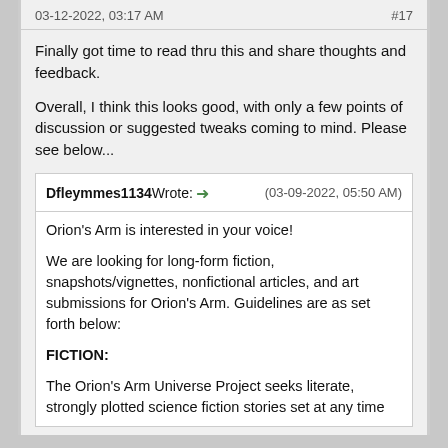03-12-2022, 03:17 AM  #17
Finally got time to read thru this and share thoughts and feedback.
Overall, I think this looks good, with only a few points of discussion or suggested tweaks coming to mind. Please see below...
Dfleymmes1134 Wrote: → (03-09-2022, 05:50 AM)
Orion's Arm is interested in your voice!

We are looking for long-form fiction, snapshots/vignettes, nonfictional articles, and art submissions for Orion's Arm. Guidelines are as set forth below:

FICTION:

The Orion's Arm Universe Project seeks literate, strongly plotted science fiction stories set at any time